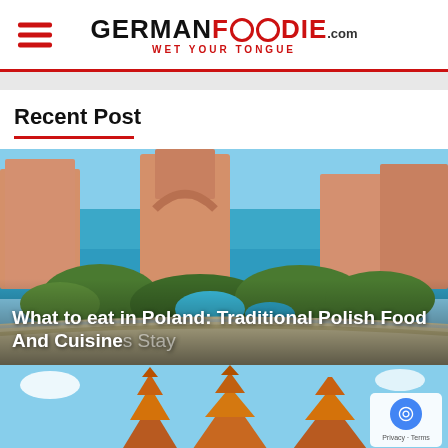GERMANFOODIE.com — WET YOUR TONGUE
Recent Post
[Figure (photo): Aerial view of a large tropical resort complex with pink/terracotta buildings, lush greenery, pools, and a white sandy beach beside turquoise ocean water.]
What to eat in Poland: Traditional Polish Food And Cuisine
[Figure (photo): Partial view of colorful Thai temple rooftops with orange and gold tiered spires against a blue sky, partially obscured. A reCAPTCHA privacy badge is visible in the bottom right corner.]